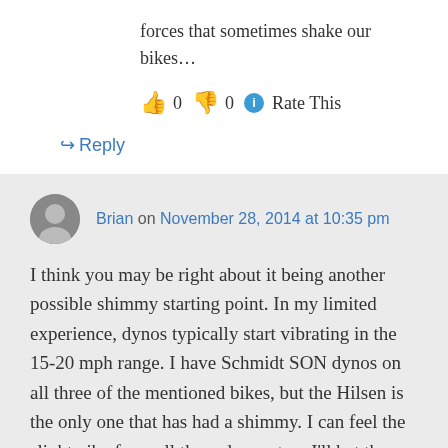forces that sometimes shake our bikes…
👍 0 👎 0 ℹ Rate This
↪ Reply
Brian on November 28, 2014 at 10:35 pm
I think you may be right about it being another possible shimmy starting point. In my limited experience, dynos typically start vibrating in the 15-20 mph range. I have Schmidt SON dynos on all three of the mentioned bikes, but the Hilsen is the only one that has had a shimmy. I can feel the slight vibe from all three dynos, too. I'll bet the others just have stiffer tubing, or